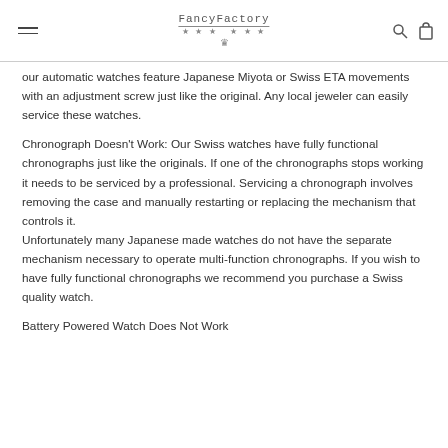FancyFactory
our automatic watches feature Japanese Miyota or Swiss ETA movements with an adjustment screw just like the original. Any local jeweler can easily service these watches.
Chronograph Doesn’t Work: Our Swiss watches have fully functional chronographs just like the originals. If one of the chronographs stops working it needs to be serviced by a professional. Servicing a chronograph involves removing the case and manually restarting or replacing the mechanism that controls it.
Unfortunately many Japanese made watches do not have the separate mechanism necessary to operate multi-function chronographs. If you wish to have fully functional chronographs we recommend you purchase a Swiss quality watch.
Battery Powered Watch Does Not Work